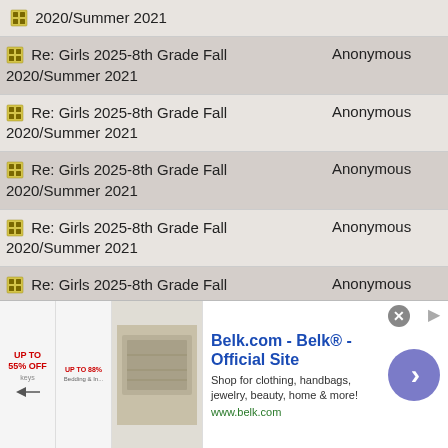| Subject | Author |
| --- | --- |
| Re: Girls 2025-8th Grade Fall 2020/Summer 2021 [partial top] | Anonymous |
| Re: Girls 2025-8th Grade Fall 2020/Summer 2021 | Anonymous |
| Re: Girls 2025-8th Grade Fall 2020/Summer 2021 | Anonymous |
| Re: Girls 2025-8th Grade Fall 2020/Summer 2021 | Anonymous |
| Re: Girls 2025-8th Grade Fall 2020/Summer 2021 | Anonymous |
| Re: Girls 2025-8th Grade Fall 2020/Summer 2021 | Anonymous |
| Re: Girls 2025-8th Grade Fall 2020/Summer 2021 | Anonymous |
| Re: Girls 2025-8th Grade Fall 2020/Summer 2021 | Anonymous |
| Re: Girls 2025-8th Grade Fall 2020/Summer 2021 [partial bottom] | Anonymous |
[Figure (other): Advertisement banner for Belk.com - Belk Official Site. Shop for clothing, handbags, jewelry, beauty, home & more! www.belk.com]